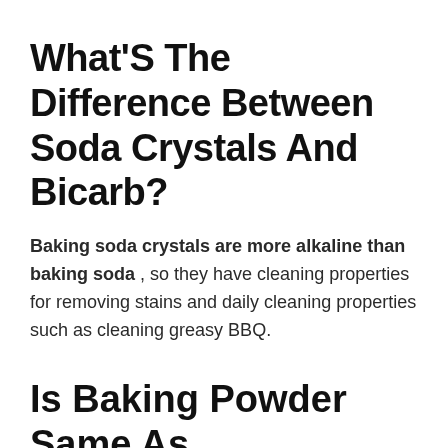What'S The Difference Between Soda Crystals And Bicarb?
Baking soda crystals are more alkaline than baking soda , so they have cleaning properties for removing stains and daily cleaning properties such as cleaning greasy BBQ.
Is Baking Powder Same As